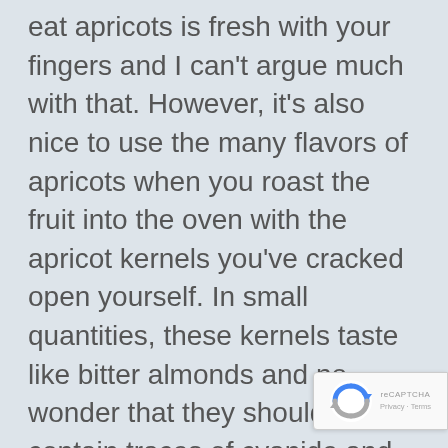eat apricots is fresh with your fingers and I can't argue much with that. However, it's also nice to use the many flavors of apricots when you roast the fruit into the oven with the apricot kernels you've cracked open yourself. In small quantities, these kernels taste like bitter almonds and no wonder that they should. They contain traces of cyanide and you should know this if you're going to use them. To reduce the cyanide to safe levels, we skin and roast the kernels but you should do your own research before you decid to use them as a flavoring agent.
[Figure (other): reCAPTCHA badge with rotating arrows logo and 'Privacy - Terms' text]